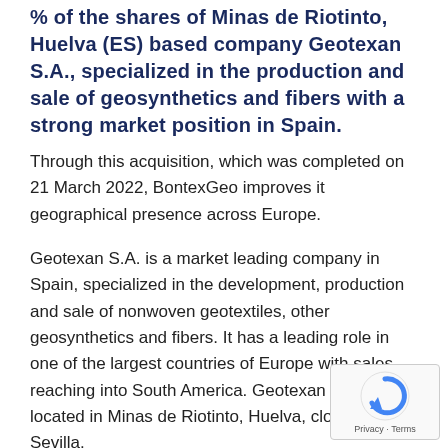% of the shares of Minas de Riotinto, Huelva (ES) based company Geotexan S.A., specialized in the production and sale of geosynthetics and fibers with a strong market position in Spain.
Through this acquisition, which was completed on 21 March 2022, BontexGeo improves it geographical presence across Europe.
Geotexan S.A. is a market leading company in Spain, specialized in the development, production and sale of nonwoven geotextiles, other geosynthetics and fibers. It has a leading role in one of the largest countries of Europe with sales reaching into South America. Geotexan SA is located in Minas de Riotinto, Huelva, close to Sevilla.
“This acquisition provides our group the possibilit… further establish a strong position throughout Europe